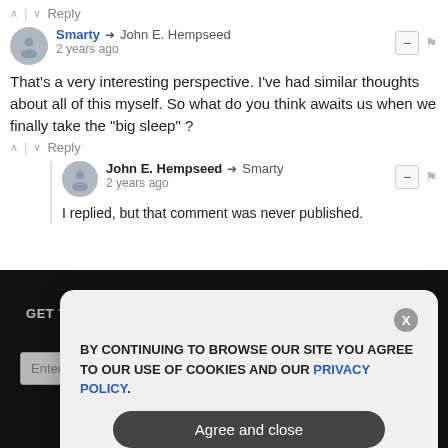^ | v Reply
Smarty → John E. Hempseed · 2 years ago
That's a very interesting perspective. I've had similar thoughts about all of this myself. So what do you think awaits us when we finally take the "big sleep" ?
^ | v Reply
John E. Hempseed → Smarty · 2 years ago
I replied, but that comment was never published.
GET THE WORLD'S BEST NATURAL HEALTH NEWSLETTER DELIVERED STRAIGHT TO YOUR INBOX
Enter Your Email Address
SUBSCRIBE
BY CONTINUING TO BROWSE OUR SITE YOU AGREE TO OUR USE OF COOKIES AND OUR PRIVACY POLICY.
Agree and close